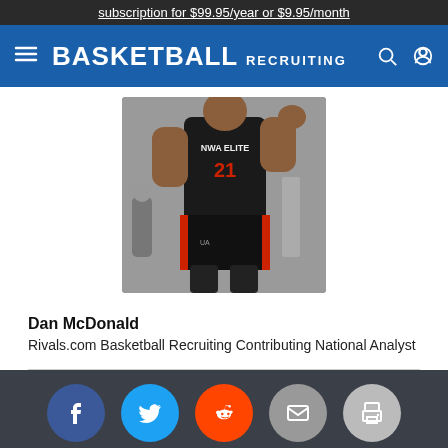subscription for $99.95/year or $9.95/month
[Figure (photo): Basketball player in a black NWA Elite jersey number 21, shooting or jumping, photographed indoors]
Dan McDonald
Rivals.com Basketball Recruiting Contributing National Analyst